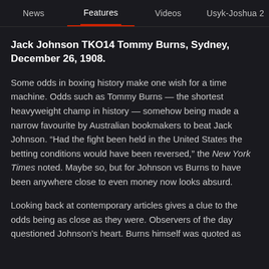News | Features | Videos | Usyk-Joshua 2
Jack Johnson TKO14 Tommy Burns, Sydney, December 26, 1908.
Some odds in boxing history make one wish for a time machine. Odds such as Tommy Burns — the shortest heavyweight champ in history — somehow being made a narrow favourite by Australian bookmakers to beat Jack Johnson. “Had the fight been held in the United States the betting conditions would have been reversed,” the New York Times noted. Maybe so, but for Johnson vs Burns to have been anywhere close to even money now looks absurd.
Looking back at contemporary articles gives a clue to the odds being as close as they were. Observers of the day questioned Johnson’s heart. Burns himself was quoted as